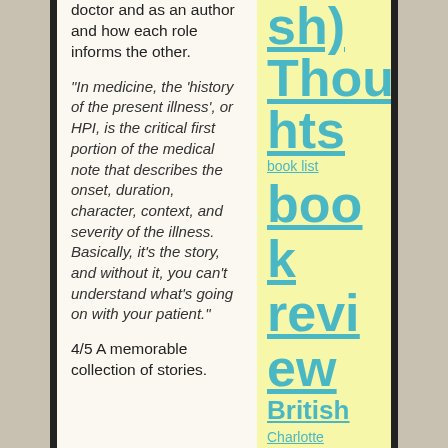doctor and as an author and how each role informs the other.
“In medicine, the ‘history of the present illness’, or HPI, is the critical first portion of the medical note that describes the onset, duration, character, context, and severity of the illness. Basically, it’s the story, and without it, you can’t understand what’s going on with your patient.”
4/5 A memorable collection of stories.
sh) Thoughts
book list
book review
British
Charlotte Wood
chick-lit
cooking
COVID-19